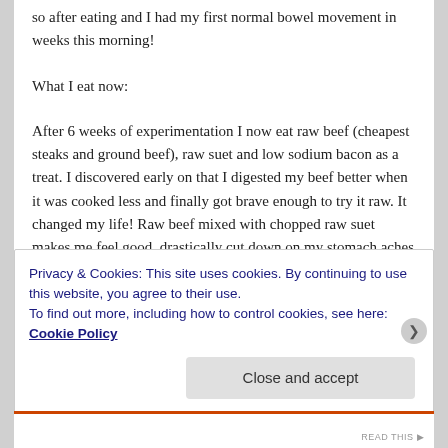so after eating and I had my first normal bowel movement in weeks this morning!
What I eat now:
After 6 weeks of experimentation I now eat raw beef (cheapest steaks and ground beef), raw suet and low sodium bacon as a treat. I discovered early on that I digested my beef better when it was cooked less and finally got brave enough to try it raw. It changed my life! Raw beef mixed with chopped raw suet makes me feel good, drastically cut down on my stomach aches and regulated my bowels. And–surprise of surprises–I LOVE it. The bacon satisfies my residual desire for snacking but
Privacy & Cookies: This site uses cookies. By continuing to use this website, you agree to their use.
To find out more, including how to control cookies, see here: Cookie Policy
Close and accept